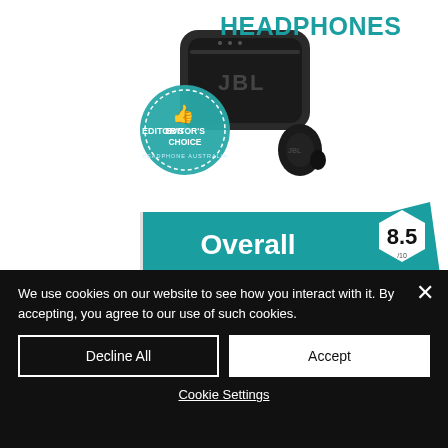HEADPHONES
[Figure (photo): JBL Tour Pro+ TWS wireless earbuds in charging case with Editor's Choice badge overlay]
[Figure (infographic): Overall score banner showing 8.5/10 in teal color with hexagon badge]
Overall, the JBL Tour Pro+ TWS are a notable step up over 1st party mobile earbuds. Having experienced both Samsung and Apple earbud...
We use cookies on our website to see how you interact with it. By accepting, you agree to our use of such cookies.
Decline All
Accept
Cookie Settings